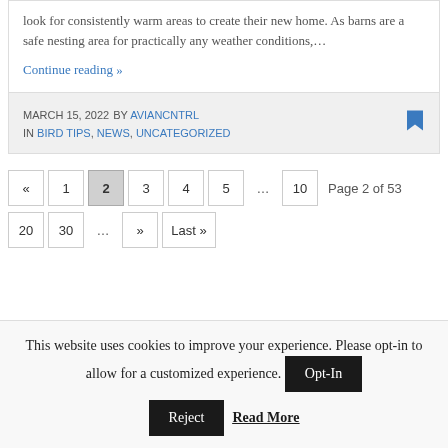look for consistently warm areas to create their new home. As barns are a safe nesting area for practically any weather conditions,...
Continue reading »
MARCH 15, 2022  BY AVIANCNTRL  IN BIRD TIPS, NEWS, UNCATEGORIZED
« 1 2 3 4 5 ... 10  Page 2 of 53
20 30 ... » Last »
This website uses cookies to improve your experience. Please opt-in to allow for a customized experience.
Reject  Read More  Opt-In